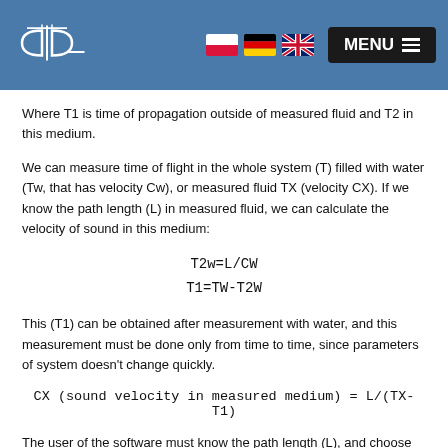[Figure (logo): ODA company logo on blue header bar with flag icons (Polish, German, UK) and a dark MENU button]
Where T1 is time of propagation outside of measured fluid and T2 in this medium.
We can measure time of flight in the whole system (T) filled with water (Tw, that has velocity Cw), or measured fluid TX (velocity CX). If we know the path length (L) in measured fluid, we can calculate the velocity of sound in this medium:
This (T1) can be obtained after measurement with water, and this measurement must be done only from time to time, since parameters of system doesn't change quickly.
The user of the software must know the path length (L), and choose appropriate signals (not only direct transmission must be chosen, but